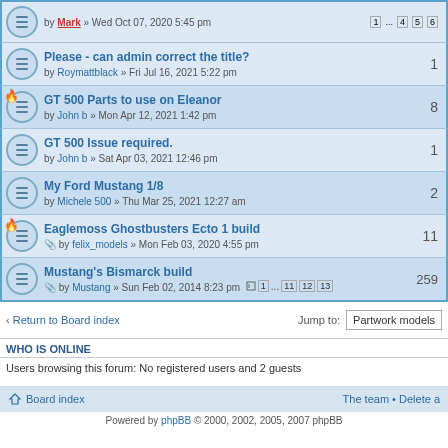by Mark » Wed Oct 07, 2020 5:45 pm — pages 1 ... 4 5 6
Please - can admin correct the title? by Roymattblack » Fri Jul 16, 2021 5:22 pm — 1 reply
GT 500 Parts to use on Eleanor by John b » Mon Apr 12, 2021 1:42 pm — 8 replies
GT 500 Issue required. by John b » Sat Apr 03, 2021 12:46 pm — 1 reply
My Ford Mustang 1/8 by Michele 500 » Thu Mar 25, 2021 12:27 am — 2 replies
Eaglemoss Ghostbusters Ecto 1 build by felix_models » Mon Feb 03, 2020 4:55 pm — 11 replies
Mustang's Bismarck build by Mustang » Sun Feb 02, 2014 8:23 pm — pages 1 ... 11 12 13 — 259 replies
Return to Board index | Jump to: Partwork models
WHO IS ONLINE
Users browsing this forum: No registered users and 2 guests
Board index | The team • Delete a | Powered by phpBB © 2000, 2002, 2005, 2007 phpBB